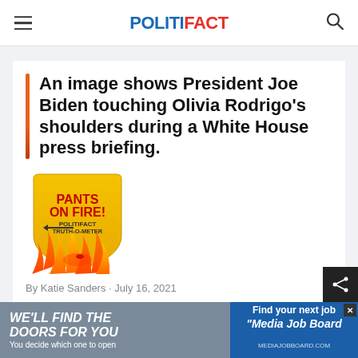POLITIFACT
An image shows President Joe Biden touching Olivia Rodrigo's shoulders during a White House press briefing.
[Figure (illustration): Pants on Fire rating badge from PolitiFact Truth-O-Meter, showing a yellow shield with text 'PANTS ON FIRE! POLITIFACT TRUTH-O-METER' and flames at the bottom]
By Katie Sanders · July 16, 2021
[Figure (other): Advertisement banner: left side gray with 'WE'LL FIND THE DOORS FOR YOU – You decide which one to open', right side blue with 'Find your next job – Media Job Board']